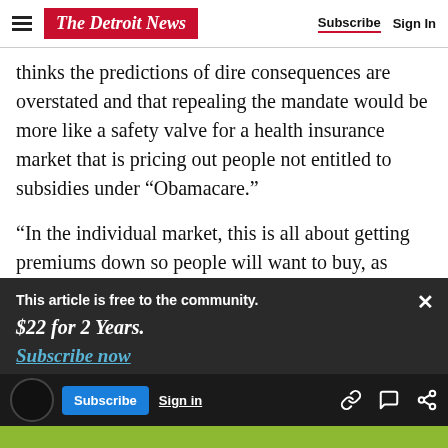The Detroit News | Subscribe | Sign In
thinks the predictions of dire consequences are overstated and that repealing the mandate would be more like a safety valve for a health insurance market that is pricing out people not entitled to subsidies under “Obamacare.”
“In the individual market, this is all about getting premiums down so people will want to buy, as opposed to making them have to buy,” Holtz-
This article is free to the community.
$22 for 2 Years.
Subscribe now
ndate in getting people to buy coverage.
Subscribe | Sign in